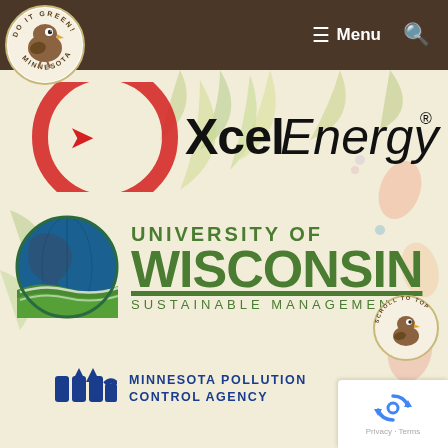[Figure (logo): Do It Green! Minnesota circular logo with a cartoon bird]
Menu
[Figure (logo): Xcel Energy logo with red circular accent and italic Energy wordmark]
[Figure (logo): University of Wisconsin Sustainable Management logo with globe]
[Figure (logo): Minnesota Pollution Control Agency logo with MN arrow lettermark]
[Figure (logo): Scroll to top button with cartoon bird]
[Figure (other): Google reCAPTCHA widget with Privacy and Terms links]